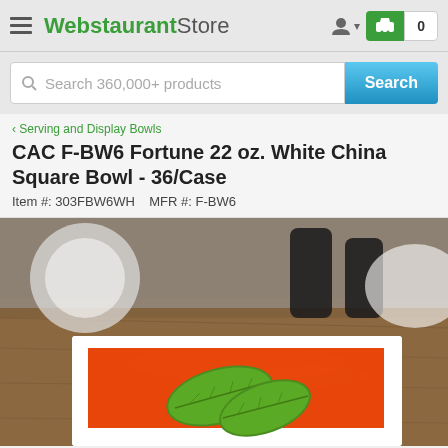WebstaurantStore
Search 360,000+ products
‹ Serving and Display Bowls
CAC F-BW6 Fortune 22 oz. White China Square Bowl - 36/Case
Item #: 303FBW6WH   MFR #: F-BW6
[Figure (photo): White square china bowl containing orange tomato soup with a green basil leaf garnish, photographed on a wooden table with black salt/pepper shakers in the background.]